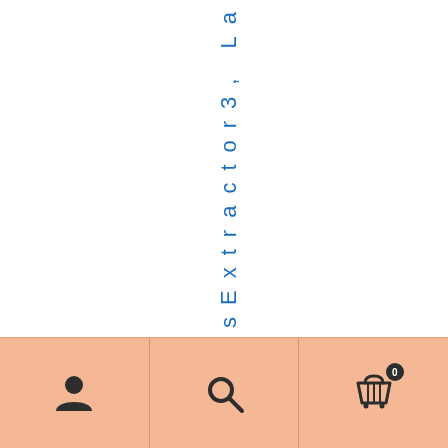sExtractor3, La
[Figure (screenshot): Mobile app bottom navigation bar with peach/salmon background containing three icon buttons: user/account icon on the left, search (magnifying glass) icon in the center, and shopping cart icon with badge showing '0' on the right. Vertical dividers separate the three sections.]